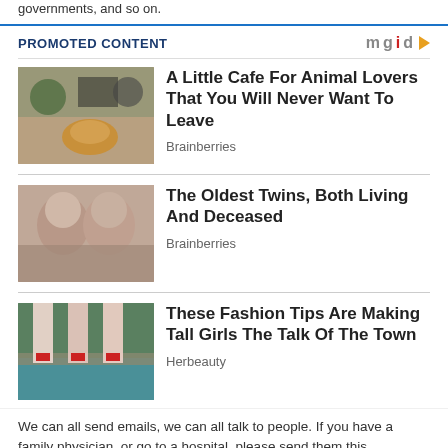governments, and so on.
PROMOTED CONTENT
[Figure (photo): People petting a corgi dog at a cafe]
A Little Cafe For Animal Lovers That You Will Never Want To Leave
Brainberries
[Figure (photo): Two elderly people facing each other closely]
The Oldest Twins, Both Living And Deceased
Brainberries
[Figure (photo): Legs with red heels dangling over a stone ledge with water below]
These Fashion Tips Are Making Tall Girls The Talk Of The Town
Herbeauty
We can all send emails, we can all talk to people. If you have a family physician, or go to a hospital, please send them this